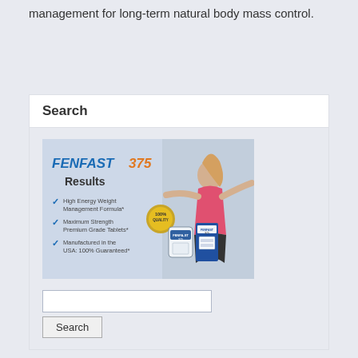incorporated directly into your weight management for long-term natural body mass control.
Search
[Figure (infographic): FENFAST 375 Results advertisement showing a woman in athletic wear with arms spread, two product bottles, a 100% quality badge, and bullet points: High Energy Weight Management Formula*, Maximum Strength Premium Grade Tablets*, Manufactured in the USA: 100% Guaranteed*]
Search input field and Search button